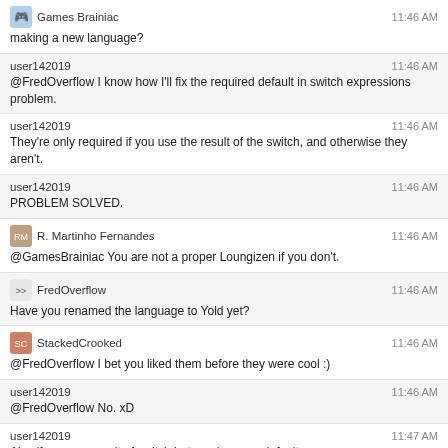Games Brainiac 11:46 AM
making a new language?
user142019 11:46 AM
@FredOverflow I know how I'll fix the required default in switch expressions problem.
user142019 11:46 AM
They're only required if you use the result of the switch, and otherwise they aren't.
user142019 11:46 AM
PROBLEM SOLVED.
R. Martinho Fernandes 11:46 AM
@GamesBrainiac You are not a proper Loungizen if you don't.
FredOverflow 11:46 AM
Have you renamed the language to Yold yet?
StackedCrooked 11:46 AM
@FredOverflow I bet you liked them before they were cool :)
user142019 11:46 AM
@FredOverflow No. xD
user142019 11:47 AM
Also if you use result of switch but you have no default case, you can use unreachable:
FredOverflow 11:47 AM